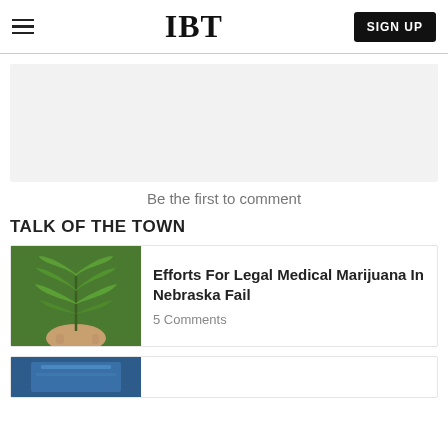IBT | SIGN UP
[Figure (other): Gray advertisement placeholder box]
Be the first to comment
TALK OF THE TOWN
[Figure (photo): Person holding a cannabis/marijuana leaf]
Efforts For Legal Medical Marijuana In Nebraska Fail
5 Comments
[Figure (photo): Partial image of blue-toned building or structure]